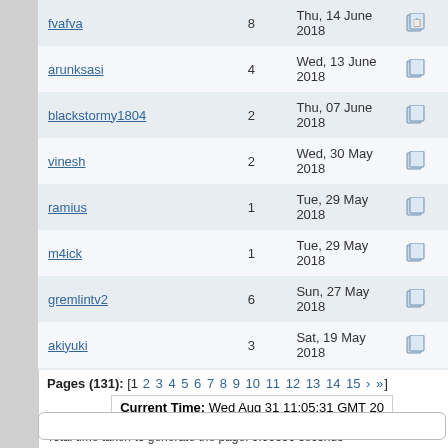| Username | Count | Date | Action |
| --- | --- | --- | --- |
| fvafva | 8 | Thu, 14 June 2018 |  |
| arunksasi | 4 | Wed, 13 June 2018 |  |
| blackstormy1804 | 2 | Thu, 07 June 2018 |  |
| vinesh | 2 | Wed, 30 May 2018 |  |
| ramius | 1 | Tue, 29 May 2018 |  |
| m4ick | 1 | Tue, 29 May 2018 |  |
| gremlintv2 | 6 | Sun, 27 May 2018 |  |
| akiyuki | 3 | Sat, 19 May 2018 |  |
| victorw | 1 | Sat, 12 May 2018 |  |
| hazoi77 | 4 | Fri, 11 May 2018 |  |
| flip101 | 1 | Fri, 11 May 2018 |  |
Pages (131): [1 2 3 4 5 6 7 8 9 10 11 12 13 14 15 › »]
Current Time: Wed Aug 31 11:05:31 GMT 20...
Total time taken to generate the page: 0.00850 seconds